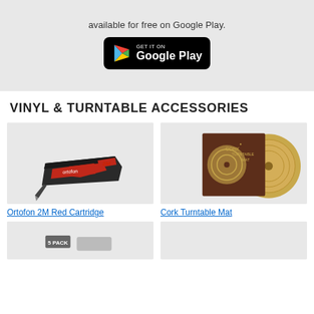available for free on Google Play.
[Figure (logo): Google Play badge - GET IT ON Google Play]
VINYL & TURNTABLE ACCESSORIES
[Figure (photo): Ortofon 2M Red Cartridge - red and black phono cartridge on grey background]
[Figure (photo): Cork Turntable Mat - brown packaging with cork mat]
Ortofon 2M Red Cartridge
Cork Turntable Mat
[Figure (photo): 5 pack product - partially visible at bottom left]
[Figure (photo): Product - partially visible at bottom right]